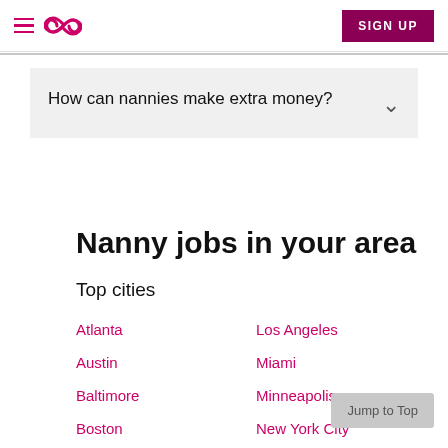Sittercity navigation header with SIGN UP button
How can nannies make extra money?
Nanny jobs in your area
Top cities
Atlanta
Los Angeles
Austin
Miami
Baltimore
Minneapolis
Boston
New York City